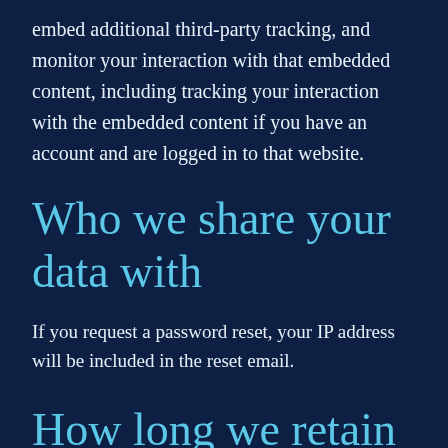embed additional third-party tracking, and monitor your interaction with that embedded content, including tracking your interaction with the embedded content if you have an account and are logged in to that website.
Who we share your data with
If you request a password reset, your IP address will be included in the reset email.
How long we retain your data